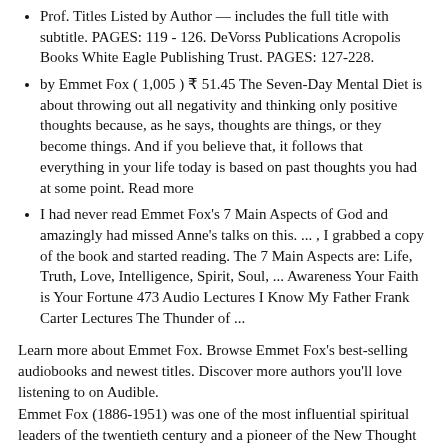Prof. Titles Listed by Author — includes the full title with subtitle. PAGES: 119 - 126. DeVorss Publications Acropolis Books White Eagle Publishing Trust. PAGES: 127-228.
by Emmet Fox ( 1,005 ) ₹ 51.45 The Seven-Day Mental Diet is about throwing out all negativity and thinking only positive thoughts because, as he says, thoughts are things, or they become things. And if you believe that, it follows that everything in your life today is based on past thoughts you had at some point. Read more
I had never read Emmet Fox's 7 Main Aspects of God and amazingly had missed Anne's talks on this. ... , I grabbed a copy of the book and started reading. The 7 Main Aspects are: Life, Truth, Love, Intelligence, Spirit, Soul, ... Awareness Your Faith is Your Fortune 473 Audio Lectures I Know My Father Frank Carter Lectures The Thunder of ...
Learn more about Emmet Fox. Browse Emmet Fox's best-selling audiobooks and newest titles. Discover more authors you'll love listening to on Audible.
Emmet Fox (1886-1951) was one of the most influential spiritual leaders of the twentieth century and a pioneer of the New Thought movement. His bold, dynamic message proclaiming that our thoughts shape our reality has changed the lives of millions across the world and influenced many key contemporary spiritual writers such as Wayne Dyer, Esther Hicks, and Louise Hay, all of whom have tapped